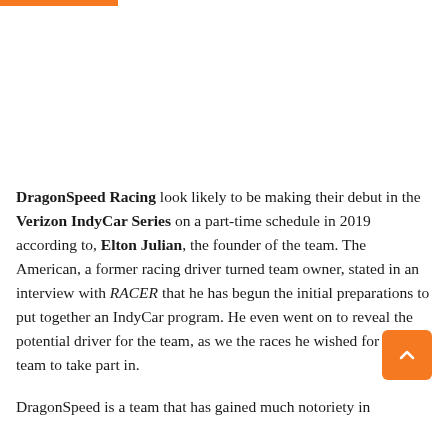DragonSpeed Racing look likely to be making their debut in the Verizon IndyCar Series on a part-time schedule in 2019 according to, Elton Julian, the founder of the team. The American, a former racing driver turned team owner, stated in an interview with RACER that he has begun the initial preparations to put together an IndyCar program. He even went on to reveal the potential driver for the team, as we the races he wished for the team to take part in.
DragonSpeed is a team that has gained much notoriety in